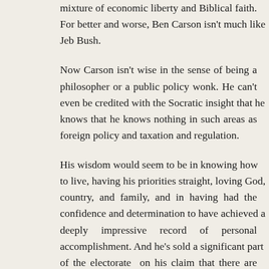mixture of economic liberty and Biblical faith. For better and worse, Ben Carson isn't much like Jeb Bush.
Now Carson isn't wise in the sense of being a philosopher or a public policy wonk. He can't even be credited with the Socratic insight that he knows that he knows nothing in such areas as foreign policy and taxation and regulation.
His wisdom would seem to be in knowing how to live, having his priorities straight, loving God, country, and family, and in having had the confidence and determination to have achieved a deeply impressive record of personal accomplishment. And he's sold a significant part of the electorate on his claim that there are ways of life better than the life of politics, and